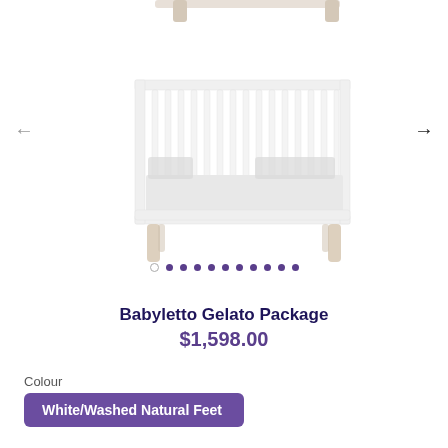[Figure (photo): Product photo of a white baby crib (Babyletto Gelato) with natural wood/washed legs and vertical slats, shown against a white background. The crib has a modern Scandinavian style with light-colored cylindrical legs.]
Babyletto Gelato Package
$1,598.00
Colour
White/Washed Natural Feet